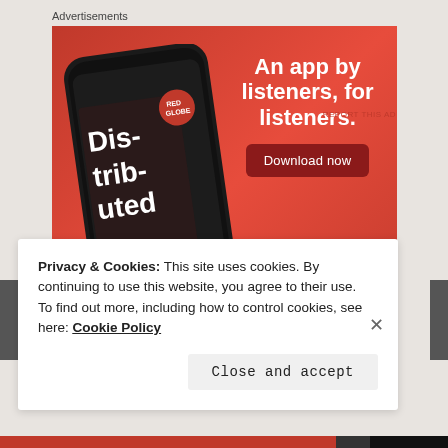Advertisements
[Figure (photo): Pocket Casts advertisement on red background showing a smartphone with the Distributed podcast app open, with text 'An app by listeners, for listeners.' and a 'Download now' button, with the Pocket Casts logo at the bottom.]
REPORT THIS AD
Privacy & Cookies: This site uses cookies. By continuing to use this website, you agree to their use.
To find out more, including how to control cookies, see here: Cookie Policy
Close and accept